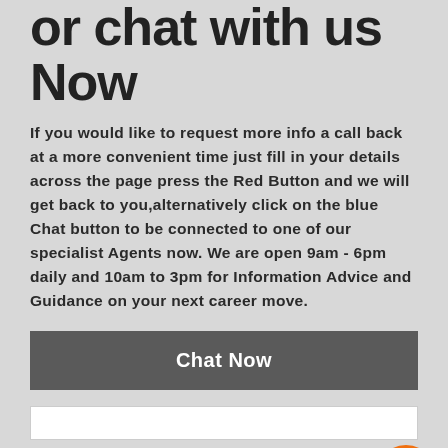or chat with us Now
If you would like to request more info a call back at a more convenient time just fill in your details across the page press the Red Button and we will get back to you,alternatively click on the blue Chat button to be connected to one of our specialist Agents now. We are open 9am - 6pm daily and 10am to 3pm for Information Advice and Guidance on your next career move.
[Figure (other): Dark grey 'Chat Now' button]
[Figure (other): White input field rectangle]
[Figure (other): Orange circular arrow/scroll-to-top button icon]
[Figure (other): Person/user avatar icon (head and shoulders outline), partially visible at bottom of page]